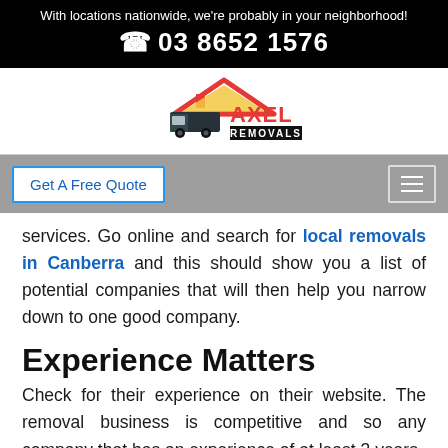With locations nationwide, we're probably in your neighborhood! 03 8652 1576
[Figure (logo): Axel Removals logo with red roof, truck silhouette, and red/black text]
Get A Free Quote
services. Go online and search for local removals in Canberra and this should show you a list of potential companies that will then help you narrow down to one good company.
Experience Matters
Check for their experience on their website. The removal business is competitive and so any company that has an experience of at least 3 years